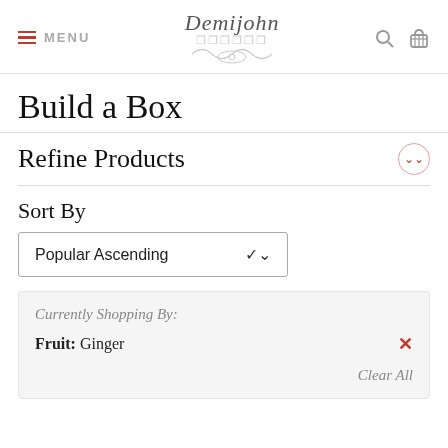MENU | Demijohn | [search] [cart]
Build a Box
Refine Products
Sort By
Popular Ascending
Currently Shopping By:
Fruit: Ginger
Clear All